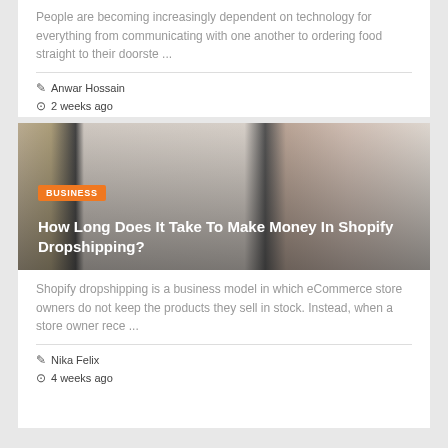People are becoming increasingly dependent on technology for everything from communicating with one another to ordering food straight to their doorste ...
✎ Anwar Hossain
⊙ 2 weeks ago
[Figure (photo): Person holding a smartphone showing a payment app screen, with a credit card in the background. Orange BUSINESS badge and article title overlay.]
How Long Does It Take To Make Money In Shopify Dropshipping?
Shopify dropshipping is a business model in which eCommerce store owners do not keep the products they sell in stock. Instead, when a store owner rece ...
✎ Nika Felix
⊙ 4 weeks ago